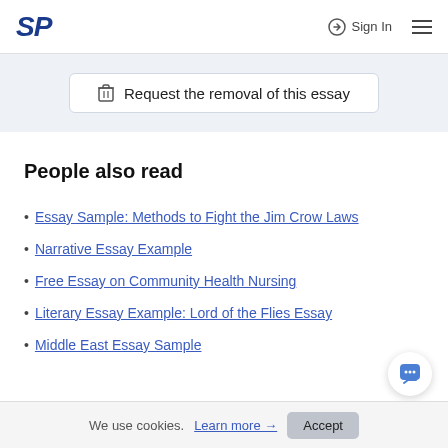SP  Sign In  ≡
🗑 Request the removal of this essay
People also read
Essay Sample: Methods to Fight the Jim Crow Laws
Narrative Essay Example
Free Essay on Community Health Nursing
Literary Essay Example: Lord of the Flies Essay
Middle East Essay Sample
We use cookies. Learn more → Accept